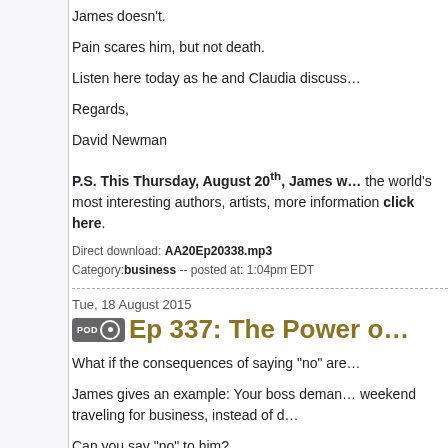James doesn't.
Pain scares him, but not death.
Listen here today as he and Claudia discuss…
Regards,
David Newman
P.S. This Thursday, August 20th, James w… the world's most interesting authors, artists, more information click here.
Direct download: AA20Ep20338.mp3
Category: business -- posted at: 1:04pm EDT
Tue, 18 August 2015
Ep 337: The Power o…
What if the consequences of saying "no" are…
James gives an example: Your boss deman… weekend traveling for business, instead of d…
Can you say "no" to him?
Sure, but you'll probably lose your job, and t…
So what else can you do?
Be prepared...
Listen here today as James gives us a few h…